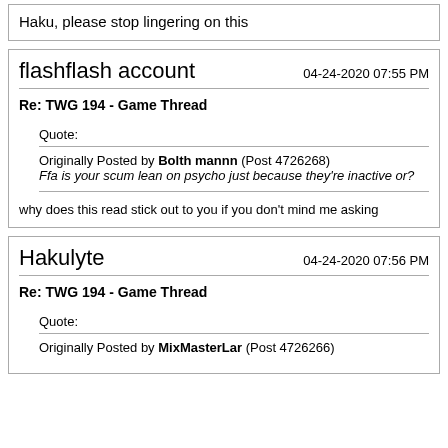Haku, please stop lingering on this
flashflash account
04-24-2020 07:55 PM
Re: TWG 194 - Game Thread
Quote:
Originally Posted by Bolth mannn (Post 4726268)
Ffa is your scum lean on psycho just because they're inactive or?
why does this read stick out to you if you don't mind me asking
Hakulyte
04-24-2020 07:56 PM
Re: TWG 194 - Game Thread
Quote:
Originally Posted by MixMasterLar (Post 4726266)